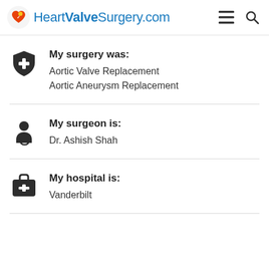HeartValveSurgery.com
My surgery was:
Aortic Valve Replacement
Aortic Aneurysm Replacement
My surgeon is:
Dr. Ashish Shah
My hospital is:
Vanderbilt